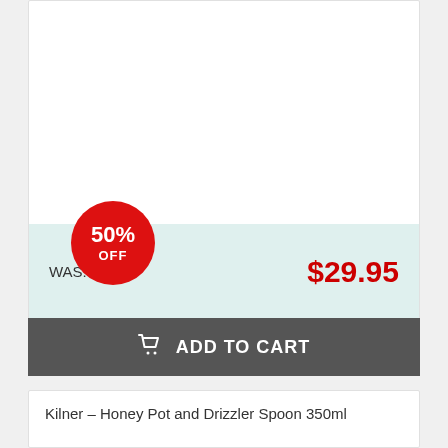[Figure (other): Product image area (white space) for an item with 50% OFF badge. Red circular badge shows 50% OFF. Light teal pricing area shows WAS: $59.95 on left and $29.95 in red on right.]
WAS: $59.95
$29.95
ADD TO CART
Kilner – Honey Pot and Drizzler Spoon 350ml